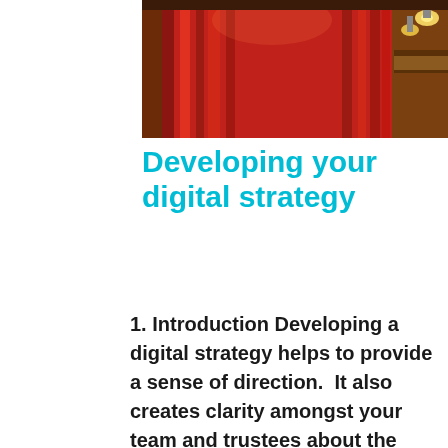[Figure (photo): Interior of a theatre with red curtains on stage, ornate balconies, and theatrical lighting from above]
Developing your digital strategy
1. Introduction Developing a digital strategy helps to provide a sense of direction.  It also creates clarity amongst your team and trustees about the kind of investments needed to stay in touch with a rapidly evolving online environment.  Without a clear strategy, you can find yourself in a situation where you are responding impulsively to ...